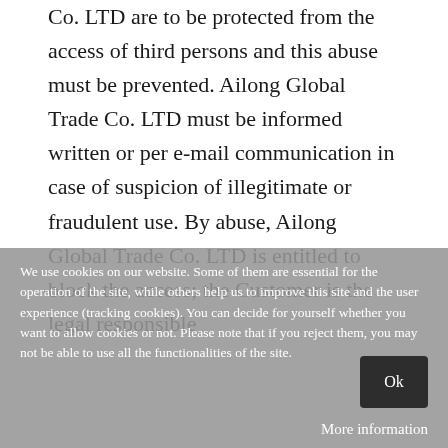Co. LTD are to be protected from the access of third persons and this abuse must be prevented. Ailong Global Trade Co. LTD must be informed written or per e-mail communication in case of suspicion of illegitimate or fraudulent use. By abuse, Ailong Global Trade Co. LTD is entitled to block the access; the Customer is the legal responsible
We use cookies on our website. Some of them are essential for the operation of the site, while others help us to improve this site and the user experience (tracking cookies). You can decide for yourself whether you want to allow cookies or not. Please note that if you reject them, you may not be able to use all the functionalities of the site.
Ok
More information